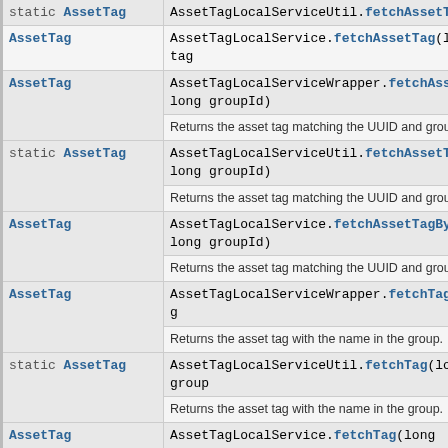| Return Type | Method and Description |
| --- | --- |
| static AssetTag | AssetTagLocalServiceUtil.fetchAssetTag(long ... |
| AssetTag | AssetTagLocalService.fetchAssetTag(long tag... |
| AssetTag | AssetTagLocalServiceWrapper.fetchAssetTagBy...
long groupId)
Returns the asset tag matching the UUID and grou... |
| static AssetTag | AssetTagLocalServiceUtil.fetchAssetTagByUuid...
long groupId)
Returns the asset tag matching the UUID and grou... |
| AssetTag | AssetTagLocalService.fetchAssetTagByUuidAnd...
long groupId)
Returns the asset tag matching the UUID and grou... |
| AssetTag | AssetTagLocalServiceWrapper.fetchTag(long g...
Returns the asset tag with the name in the group. |
| static AssetTag | AssetTagLocalServiceUtil.fetchTag(long group...
Returns the asset tag with the name in the group. |
| AssetTag | AssetTagLocalService.fetchTag(long groupId,...
Returns the asset tag with the name in the group. |
| AssetTag | AssetTagLocalServiceWrapper.getAssetTag(lon...
Returns the asset tag with the primary key. |
| static AssetTag | AssetTagLocalServiceUtil.getAssetTag(long ta...
Returns the asset tag with the primary key. |
| AssetTag | AssetTagLocalService.getAssetTag(long tagId...
Returns the asset tag with the primary key. |
| AssetTag | AssetTagLocalServiceWrapper.getAssetTagByUu...
long groupId) |